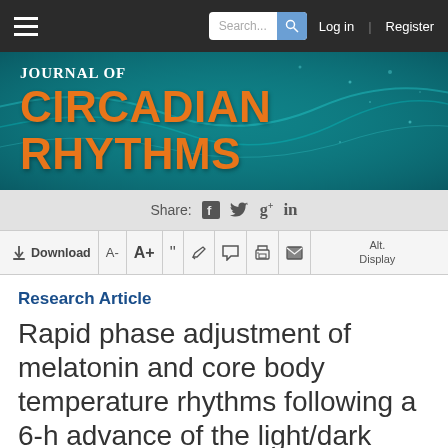Journal of Circadian Rhythms — website navigation bar with search, log in, register
[Figure (screenshot): Journal of Circadian Rhythms website header banner with teal/aqua wave background. Shows 'JOURNAL OF' in white bold serif and 'CIRCADIAN RHYTHMS' in large bold orange sans-serif text.]
[Figure (screenshot): Share bar with social media icons: Facebook, Twitter, Google+, LinkedIn]
[Figure (screenshot): Article toolbar with Download, A-, A+, quote, edit, comment, print, email, and Alt. Display buttons]
Research Article
Rapid phase adjustment of melatonin and core body temperature rhythms following a 6-h advance of the light/dark cycle in the horse